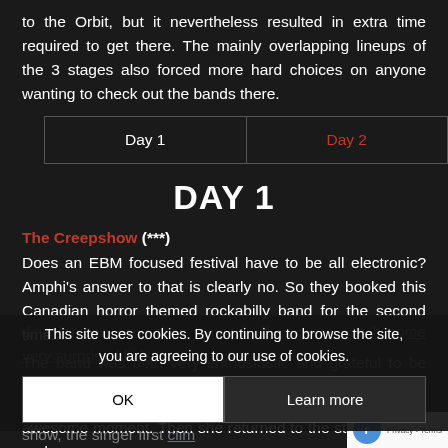to the Orbit, but it nevertheless resulted in extra time required to get there. The mainly overlapping lineups of the 3 stages also forced more hard choices on anyone wanting to check out the bands there.
| Day 1 | Day 2 |
| --- | --- |
DAY 1
The Creepshow (***)
Does an EBM focused festival have to be all electronic? Amphi's answer to that is clearly no. So they booked this Canadian horror themed rockabilly band for the second time.
The band was both very enthusiastic and grateful to be there. Despite the early hour, they still managed to get part of the crowd grooving along too. In the second half of the show, the singer first clim... [cookie overlay] ...ding for one song then jumped off stage to co... ...h some very surprised kids couple of songs. Continuing to sing throughout. Wha... awesome moment. Then she returned to the stage and go... the double hin... A definitely...